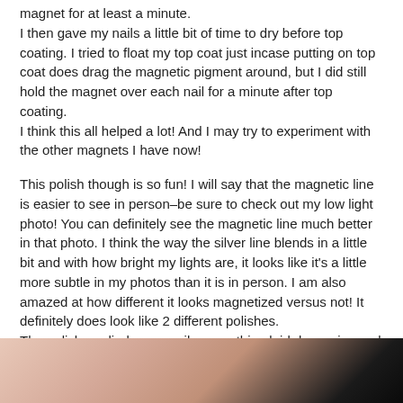magnet for at least a minute.
I then gave my nails a little bit of time to dry before top coating. I tried to float my top coat just incase putting on top coat does drag the magnetic pigment around, but I did still hold the magnet over each nail for a minute after top coating.
I think this all helped a lot! And I may try to experiment with the other magnets I have now!
This polish though is so fun! I will say that the magnetic line is easier to see in person–be sure to check out my low light photo! You can definitely see the magnetic line much better in that photo. I think the way the silver line blends in a little bit and with how bright my lights are, it looks like it's a little more subtle in my photos than it is in person. I am also amazed at how different it looks magnetized versus not! It definitely does look like 2 different polishes.
The polish applied very easily, everything laid down nice and smooth, and when magnetizing it, it had a great pull.
Magnetized Swatches (3 coats):
[Figure (photo): Close-up photo of painted nails showing magnetic nail polish effect, with skin tones and dark nail polish visible]